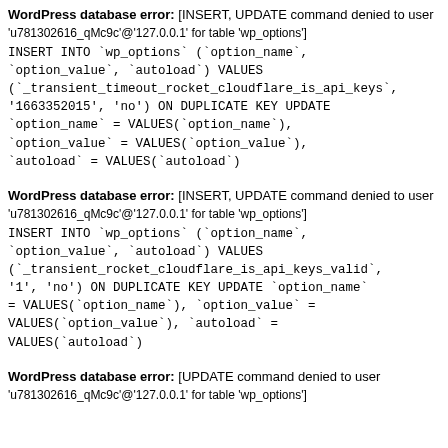WordPress database error: [INSERT, UPDATE command denied to user 'u781302616_qMc9c'@'127.0.0.1' for table 'wp_options']
INSERT INTO `wp_options` (`option_name`, `option_value`, `autoload`) VALUES ('_transient_timeout_rocket_cloudflare_is_api_keys', '1663352015', 'no') ON DUPLICATE KEY UPDATE `option_name` = VALUES(`option_name`), `option_value` = VALUES(`option_value`), `autoload` = VALUES(`autoload`)
WordPress database error: [INSERT, UPDATE command denied to user 'u781302616_qMc9c'@'127.0.0.1' for table 'wp_options']
INSERT INTO `wp_options` (`option_name`, `option_value`, `autoload`) VALUES ('_transient_rocket_cloudflare_is_api_keys_valid', '1', 'no') ON DUPLICATE KEY UPDATE `option_name` = VALUES(`option_name`), `option_value` = VALUES(`option_value`), `autoload` = VALUES(`autoload`)
WordPress database error: [UPDATE command denied to user 'u781302616_qMc9c'@'127.0.0.1' for table 'wp_options']